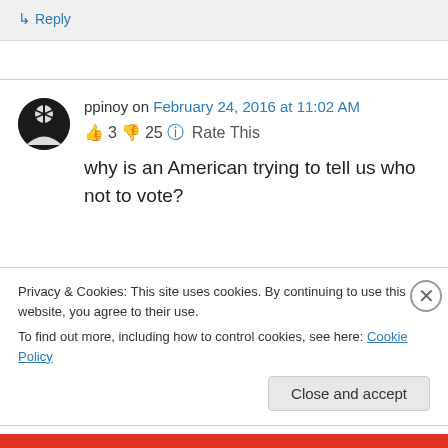↳ Reply
ppinoy on February 24, 2016 at 11:02 AM
👍 3 👎 25 ℹ Rate This
why is an American trying to tell us who not to vote?
Privacy & Cookies: This site uses cookies. By continuing to use this website, you agree to their use.
To find out more, including how to control cookies, see here: Cookie Policy